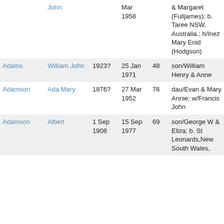| Surname | Given Name | Birth | Death | Age | Notes |
| --- | --- | --- | --- | --- | --- |
| John |  | Mar 1958 |  |  | & Margaret (Fulljames); b. Taree NSW, Australia.; h/Inez Mary Enid (Hodgson) |
| Adams | William John | 1923? | 25 Jan 1971 | 48 | son/William Henry & Anne |
| Adamson | Ada Mary | 1876? | 27 Mar 1952 | 76 | dau/Evan & Mary Annie; w/Francis John |
| Adamson | Albert | 1 Sep 1908 | 15 Sep 1977 | 69 | son/George W & Eliza; b. St Leonards,New South Wales, |